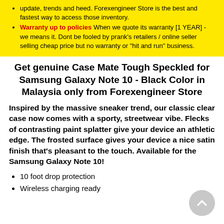update, trends and heed. Forexengineer Store is the best and fastest way to access those inventory.
Warranty up to policies When we quote its warranty [1 YEAR] - we means it. Dont be fooled by prank's retailers / online seller selling cheap price but no warranty or "hit and run" business.
Get genuine Case Mate Tough Speckled for Samsung Galaxy Note 10 - Black Color in Malaysia only from Forexengineer Store
Inspired by the massive sneaker trend, our classic clear case now comes with a sporty, streetwear vibe. Flecks of contrasting paint splatter give your device an athletic edge. The frosted surface gives your device a nice satin finish that’s pleasant to the touch. Available for the Samsung Galaxy Note 10!
10 foot drop protection
Wireless charging ready